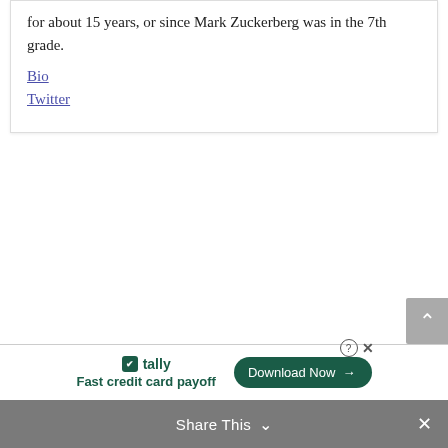for about 15 years, or since Mark Zuckerberg was in the 7th grade.
Bio
Twitter
[Figure (screenshot): Tally advertisement banner: 'Fast credit card payoff' with a 'Download Now' button and help/close icons]
Share This ∨  ×